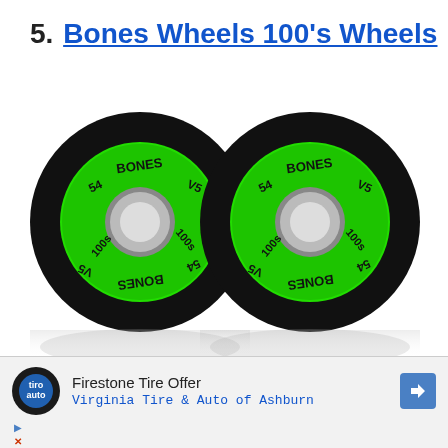5. Bones Wheels 100's Wheels
[Figure (photo): Two black skateboard wheels with bright green inner rings labeled BONES V5 54 100s, shown side by side with reflection below]
Firestone Tire Offer
Virginia Tire & Auto of Ashburn